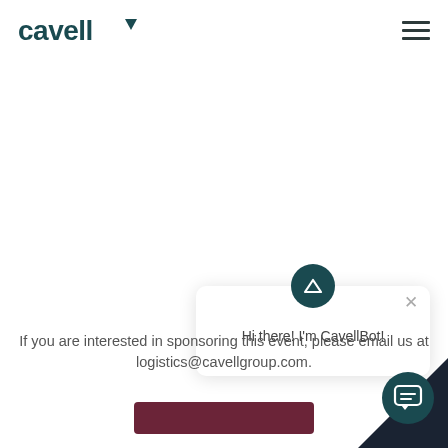[Figure (logo): Cavell logo with teal text and downward triangle symbol]
[Figure (screenshot): CavellBot chat popup with triangle icon and close button saying Hi there! I'm CavellBot!]
If you are interested in sponsoring this event, please email us at logistics@cavellgroup.com.
[Figure (other): Dark maroon/navy CTA button at the bottom of page]